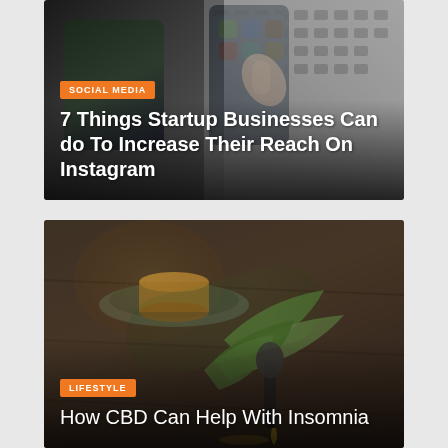[Figure (photo): Photo of a hand holding a smartphone with various app icons visible, overlaid on a keyboard background. Article card with orange 'SOCIAL MEDIA' badge and white title text.]
7 Things Startup Businesses Can do To Increase Their Reach On Instagram
[Figure (photo): Photo of CBD oil dropper with golden oil droplets on a dark wooden surface, alongside green herb leaves and a glass cup on a dark plate. Article card with orange 'LIFESTYLE' badge and white title text.]
How CBD Can Help With Insomnia